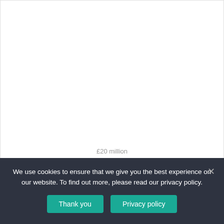[Figure (other): Large white blank area representing a chart or document region, mostly empty]
£20 million
We use cookies to ensure that we give you the best experience on our website. To find out more, please read our privacy policy.
Thank you | Privacy policy | ×